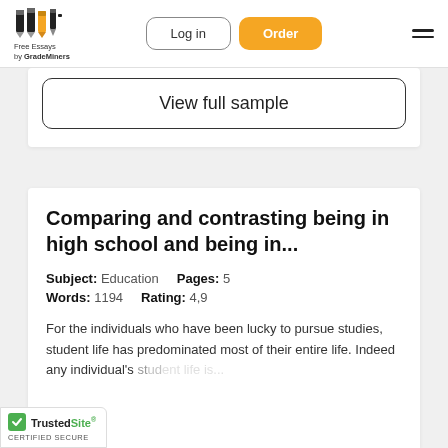Free Essays by GradeMiners | Log in | Order
View full sample
Comparing and contrasting being in high school and being in...
Subject: Education   Pages: 5   Words: 1194   Rating: 4,9
For the individuals who have been lucky to pursue studies, student life has predominated most of their entire life. Indeed any individual's student life is...